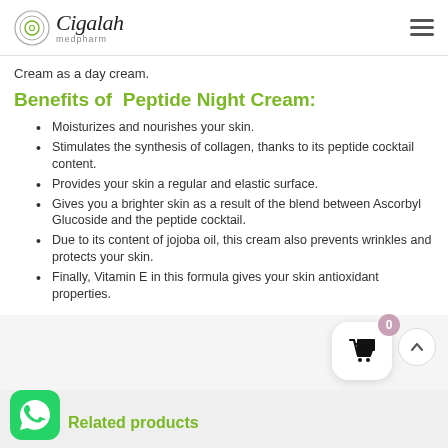Cigalah medpharm
Cream as a day cream.
Benefits of  Peptide Night Cream:
Moisturizes and nourishes your skin.
Stimulates the synthesis of collagen, thanks to its peptide cocktail content.
Provides your skin a regular and elastic surface.
Gives you a brighter skin as a result of the blend between Ascorbyl Glucoside and the peptide cocktail.
Due to its content of jojoba oil, this cream also prevents wrinkles and protects your skin.
Finally, Vitamin E in this formula gives your skin antioxidant properties.
Related products